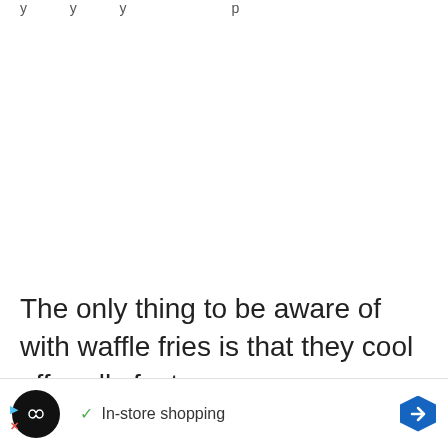y y y p
The only thing to be aware of with waffle fries is that they cool off really fast.
If you like  this, but do  it
make  an
[Figure (screenshot): Ad banner at bottom of screen showing a black circular icon with infinity symbol, a green checkmark with 'In-store shopping' text, and a blue hexagonal arrow navigation icon on the right.]